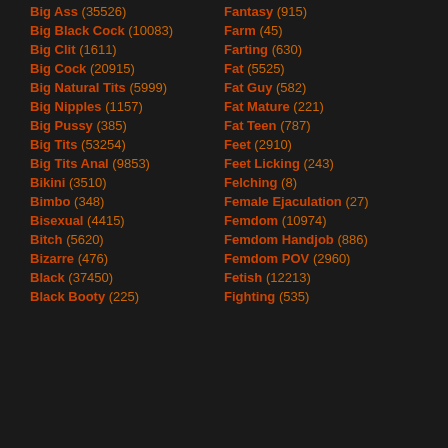Big Ass (35526)
Big Black Cock (10083)
Big Clit (1611)
Big Cock (20915)
Big Natural Tits (5999)
Big Nipples (1157)
Big Pussy (385)
Big Tits (53254)
Big Tits Anal (9853)
Bikini (3510)
Bimbo (348)
Bisexual (4415)
Bitch (5620)
Bizarre (476)
Black (37450)
Black Booty (225)
Fantasy (915)
Farm (45)
Farting (630)
Fat (5525)
Fat Guy (582)
Fat Mature (221)
Fat Teen (787)
Feet (2910)
Feet Licking (243)
Felching (8)
Female Ejaculation (27)
Femdom (10974)
Femdom Handjob (886)
Femdom POV (2960)
Fetish (12213)
Fighting (535)